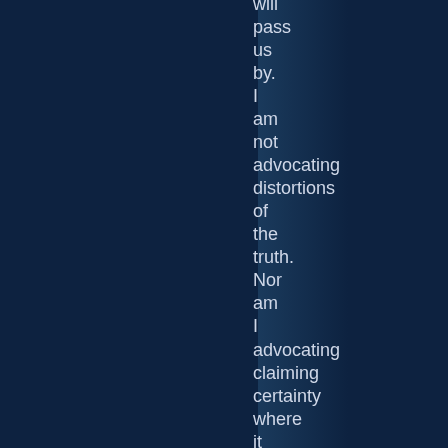world will pass us by. I am not advocating distortions of the truth. Nor am I advocating claiming certainty where it doesn't exist.